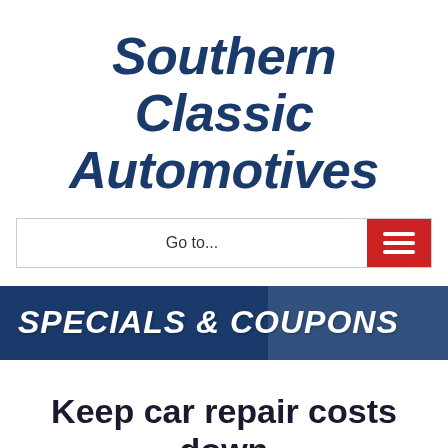Southern Classic Automotives
Go to...
SPECIALS & COUPONS
Keep car repair costs down with Southern Classic